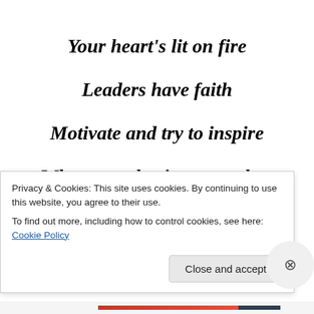Your heart's lit on fire
Leaders have faith
Motivate and try to inspire
When trust begins to weaken
Privacy & Cookies: This site uses cookies. By continuing to use this website, you agree to their use.
To find out more, including how to control cookies, see here: Cookie Policy
Close and accept